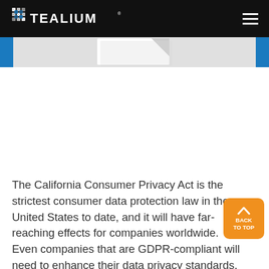TEALIUM
[Figure (screenshot): Partial view of a document/paper illustration on a gray background, with blue accent strips on left and right edges]
The California Consumer Privacy Act is the strictest consumer data protection law in the United States to date, and it will have far-reaching effects for companies worldwide. Even companies that are GDPR-compliant will need to enhance their data privacy standards.